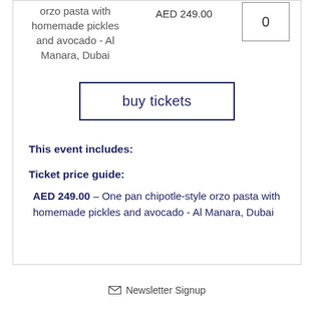orzo pasta with homemade pickles and avocado - Al Manara, Dubai
AED 249.00
0
buy tickets
This event includes:
Ticket price guide:
AED 249.00 - One pan chipotle-style orzo pasta with homemade pickles and avocado - Al Manara, Dubai
Newsletter Signup